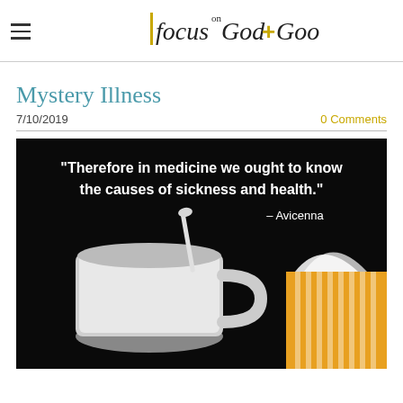Focus on God + Good
Mystery Illness
7/10/2019
0 Comments
[Figure (photo): Dark background photo with a white ceramic mug with a spoon, and a tissue box with orange and white striped pattern. Overlaid white text quote: "Therefore in medicine we ought to know the causes of sickness and health." – Avicenna]